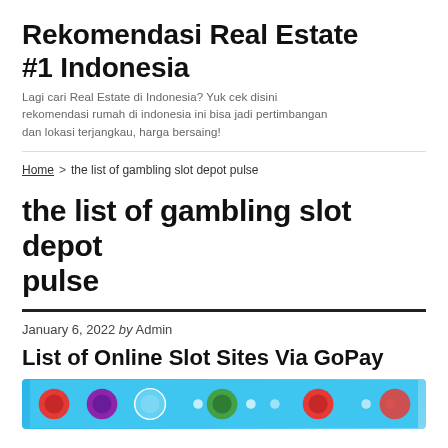Rekomendasi Real Estate #1 Indonesia
Lagi cari Real Estate di Indonesia? Yuk cek disini rekomendasi rumah di indonesia ini bisa jadi pertimbangan dan lokasi terjangkau, harga bersaing!
Home > the list of gambling slot depot pulse
the list of gambling slot depot pulse
January 6, 2022 by Admin
List of Online Slot Sites Via GoPay
[Figure (screenshot): Colorful app icons on a blue background banner image]